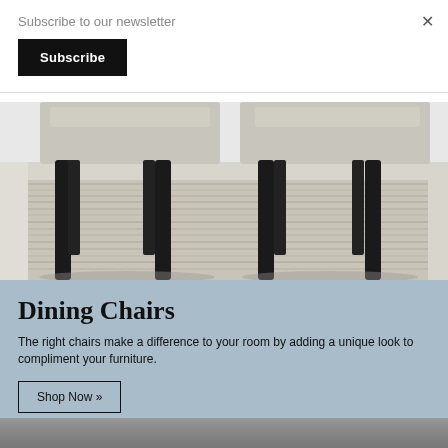Subscribe to our newsletter
Subscribe
×
[Figure (photo): Two upholstered dining chairs with black legs on a striped grey rug, viewed from below seat level]
Dining Chairs
The right chairs make a difference to your room by adding a unique look to compliment your furniture.
Shop Now »
[Figure (photo): Partial bottom strip of another photo, dark grey/black]